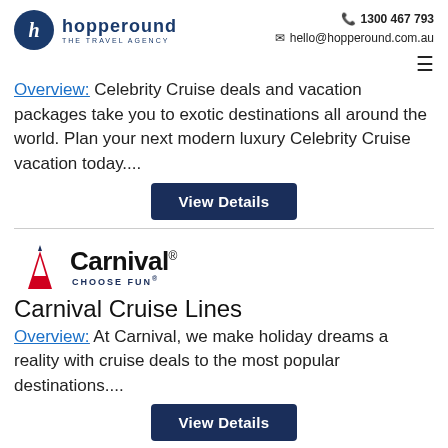hopperound THE TRAVEL AGENCY | 1300 467 793 | hello@hopperound.com.au
Overview: Celebrity Cruise deals and vacation packages take you to exotic destinations all around the world. Plan your next modern luxury Celebrity Cruise vacation today....
[Figure (logo): Carnival Cruise Lines logo with funnel icon and CHOOSE FUN tagline]
Carnival Cruise Lines
Overview: At Carnival, we make holiday dreams a reality with cruise deals to the most popular destinations....